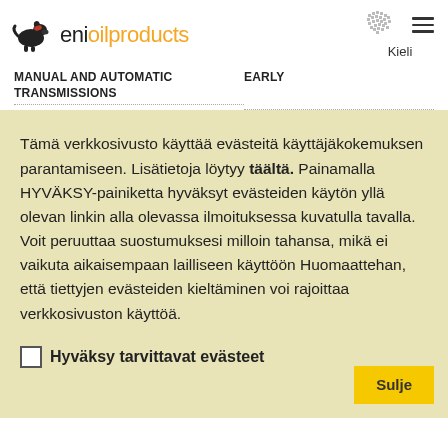eni oil products
MANUAL AND AUTOMATIC TRANSMISSIONS
EARLY
Tämä verkkosivusto käyttää evästeitä käyttäjäkokemuksen parantamiseen. Lisätietoja löytyy täältä. Painamalla HYVÄKSY-painiketta hyväksyt evästeiden käytön yllä olevan linkin alla olevassa ilmoituksessa kuvatulla tavalla. Voit peruuttaa suostumuksesi milloin tahansa, mikä ei vaikuta aikaisempaan lailliseen käyttöön Huomaattehan, että tiettyjen evästeiden kieltäminen voi rajoittaa verkkosivuston käyttöä.
Hyväksy tarvittavat evästeet